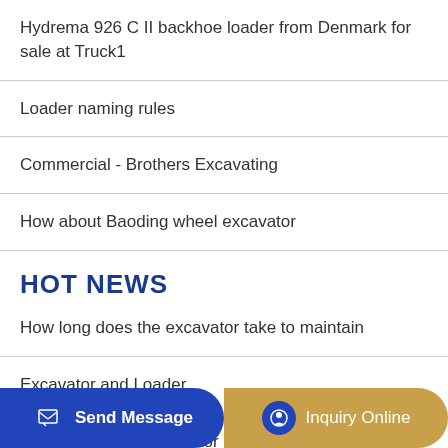Hydrema 926 C II backhoe loader from Denmark for sale at Truck1
Loader naming rules
Commercial - Brothers Excavating
How about Baoding wheel excavator
HOT NEWS
How long does the excavator take to maintain
Excavator and Loader
CCM CAT 5230 Excavator - mine white - Brass 1 87 $1